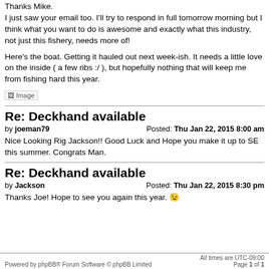Thanks Mike.
I just saw your email too. I'll try to respond in full tomorrow morning but I think what you want to do is awesome and exactly what this industry, not just this fishery, needs more of!
Here's the boat. Getting it hauled out next week-ish. It needs a little love on the inside ( a few ribs :/ ), but hopefully nothing that will keep me from fishing hard this year.
[Figure (photo): Broken image placeholder labeled 'Image']
Re: Deckhand available
by joeman79    Posted: Thu Jan 22, 2015 8:00 am
Nice Looking Rig Jackson!! Good Luck and Hope you make it up to SE this summer. Congrats Man.
Re: Deckhand available
by Jackson    Posted: Thu Jan 22, 2015 8:30 pm
Thanks Joe! Hope to see you again this year. 😀
Powered by phpBB® Forum Software © phpBB Limited    All times are UTC-09:00
Page 1 of 1